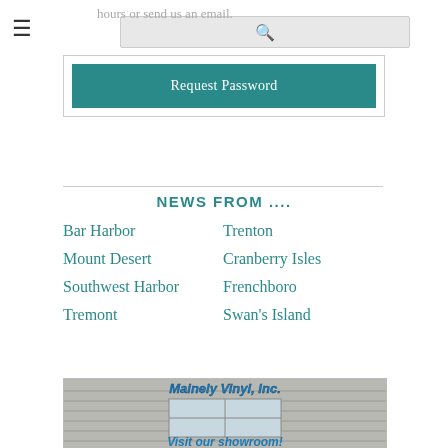☰  [search bar]
hours or send us an email.
Request Password
NEWS FROM ....
Bar Harbor
Trenton
Mount Desert
Cranberry Isles
Southwest Harbor
Frenchboro
Tremont
Swan's Island
[Figure (photo): Advertisement for Mainely Vinyl, Inc. showing a house with vinyl siding and windows, with text 'Mainely Vinyl, Inc.' at the top and 'Visit our showroom!' at the bottom.]